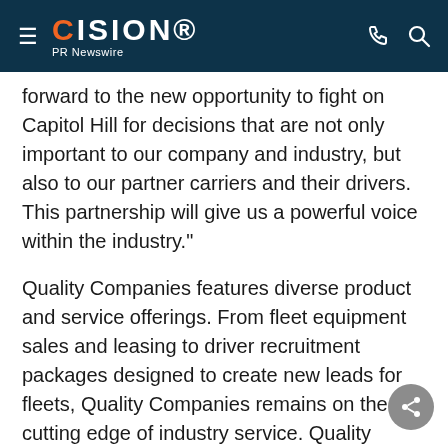CISION PR Newswire
forward to the new opportunity to fight on Capitol Hill for decisions that are not only important to our company and industry, but also to our partner carriers and their drivers. This partnership will give us a powerful voice within the industry."
Quality Companies features diverse product and service offerings. From fleet equipment sales and leasing to driver recruitment packages designed to create new leads for fleets, Quality Companies remains on the cutting edge of industry service. Quality Companies also offers an electronic logging device, Street Smart, and mobile maintenance